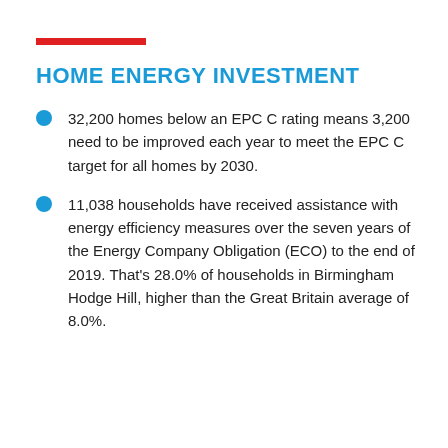HOME ENERGY INVESTMENT
32,200 homes below an EPC C rating means 3,200 need to be improved each year to meet the EPC C target for all homes by 2030.
11,038 households have received assistance with energy efficiency measures over the seven years of the Energy Company Obligation (ECO) to the end of 2019. That's 28.0% of households in Birmingham Hodge Hill, higher than the Great Britain average of 8.0%.